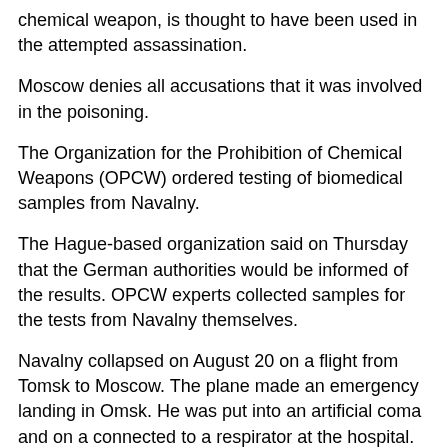chemical weapon, is thought to have been used in the attempted assassination.
Moscow denies all accusations that it was involved in the poisoning.
The Organization for the Prohibition of Chemical Weapons (OPCW) ordered testing of biomedical samples from Navalny.
The Hague-based organization said on Thursday that the German authorities would be informed of the results. OPCW experts collected samples for the tests from Navalny themselves.
Navalny collapsed on August 20 on a flight from Tomsk to Moscow. The plane made an emergency landing in Omsk. He was put into an artificial coma and on a connected to a respirator at the hospital.
On August 22, he was flown to Germany, where he is being treated at the Charité in Berlin. He has regained consciousness and is breathing on his own. On Wednesday, He posted a picture on Instagram in which he is sitting up.